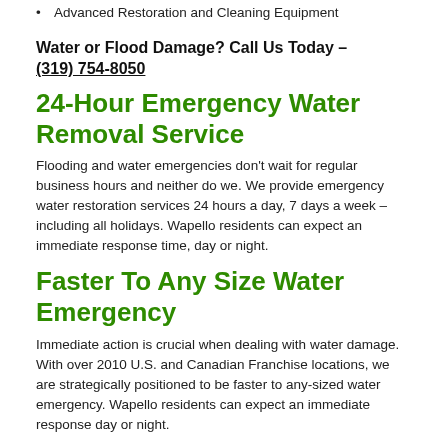Advanced Restoration and Cleaning Equipment
Water or Flood Damage? Call Us Today – (319) 754-8050
24-Hour Emergency Water Removal Service
Flooding and water emergencies don't wait for regular business hours and neither do we. We provide emergency water restoration services 24 hours a day, 7 days a week – including all holidays. Wapello residents can expect an immediate response time, day or night.
Faster To Any Size Water Emergency
Immediate action is crucial when dealing with water damage. With over 2010 U.S. and Canadian Franchise locations, we are strategically positioned to be faster to any-sized water emergency. Wapello residents can expect an immediate response day or night.